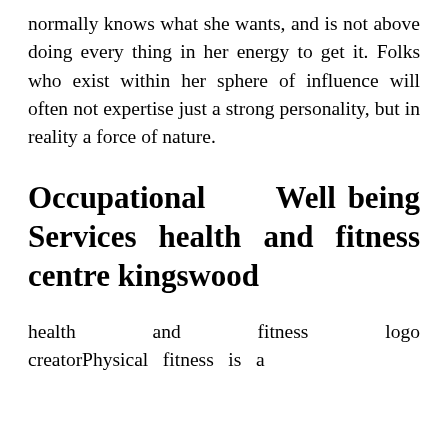normally knows what she wants, and is not above doing every thing in her energy to get it. Folks who exist within her sphere of influence will often not expertise just a strong personality, but in reality a force of nature.
Occupational Well being Services health and fitness centre kingswood
health and fitness logo creatorPhysical fitness is a